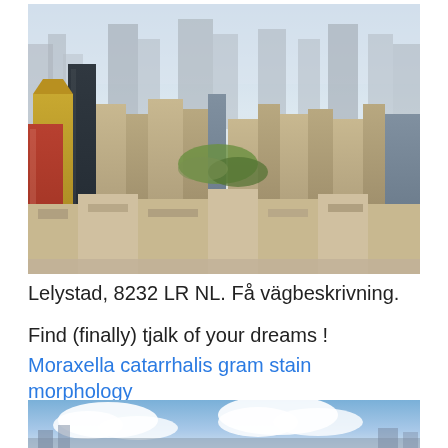[Figure (photo): Aerial view of a dense urban cityscape with tall skyscrapers, a green park in the middle, and hazy sky above — resembling New York City from above.]
Lelystad, 8232 LR NL. Få vägbeskrivning.
Find (finally) tjalk of your dreams !
Moraxella catarrhalis gram stain morphology
[Figure (photo): Partial view of a cityscape or landscape photo with blue sky and clouds visible at the bottom of the page.]